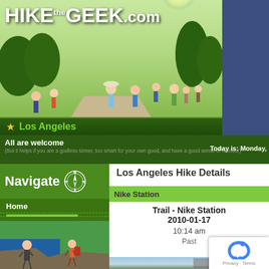[Figure (photo): HikeTheGeek.com website header with group of hikers walking on a path, sunlit outdoor scene]
HIKE the GEEK .com
★  Los Angeles
All are welcome
(But it helps if you are a godless sinner, too smart for your own good, and have a good sense of humour)
Today is: Monday,
[Figure (illustration): Navigate section with compass rose icon]
Home
Hikes
Trails
Gallery
F.A.Q.
About us
[Figure (illustration): Cartoon illustration of a man in suit and a female hiker on rocky terrain by water]
Los Angeles Hike Details
Nike Station
Trail - Nike Station
2010-01-17
10:14 am
Past
[Figure (photo): Photo of a metal observation tower/structure on a hilltop with mountains and sky in background, Nike Station]